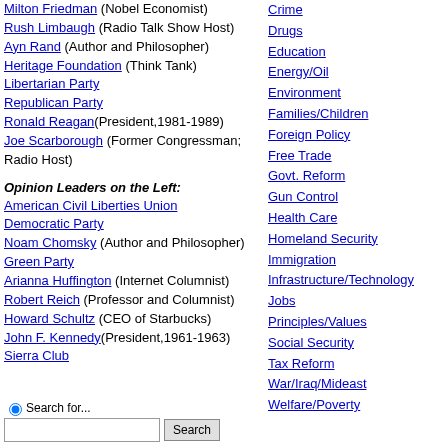Milton Friedman (Nobel Economist)
Rush Limbaugh (Radio Talk Show Host)
Ayn Rand (Author and Philosopher)
Heritage Foundation (Think Tank)
Libertarian Party
Republican Party
Ronald Reagan (President,1981-1989)
Joe Scarborough (Former Congressman; Radio Host)
Opinion Leaders on the Left:
American Civil Liberties Union
Democratic Party
Noam Chomsky (Author and Philosopher)
Green Party
Arianna Huffington (Internet Columnist)
Robert Reich (Professor and Columnist)
Howard Schultz (CEO of Starbucks)
John F. Kennedy (President,1961-1963)
Sierra Club
Crime
Drugs
Education
Energy/Oil
Environment
Families/Children
Foreign Policy
Free Trade
Govt. Reform
Gun Control
Health Care
Homeland Security
Immigration
Infrastructure/Technology
Jobs
Principles/Values
Social Security
Tax Reform
War/Iraq/Mideast
Welfare/Poverty